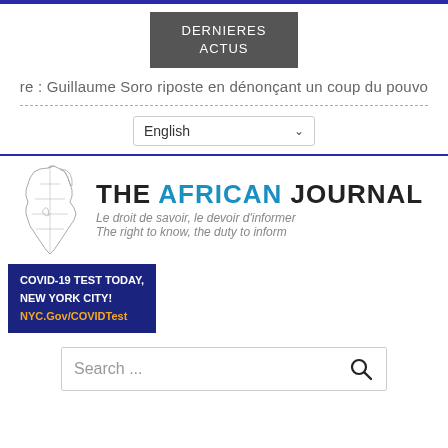DERNIERES ACTUS
re : Guillaume Soro riposte en dénonçant un coup du pouvo
[Figure (screenshot): Language selector dropdown showing 'English' with chevron]
[Figure (logo): The African Journal logo with Africa map outline and taglines: 'Le droit de savoir, le devoir d'informer' and 'The right to know, the duty to inform']
[Figure (infographic): COVID-19 test advertisement banner: 'COVID-19 TEST TODAY, NEW YORK CITY! NYC.Gov/COVIDTest']
[Figure (screenshot): Search bar with placeholder 'Search ...' and magnifying glass icon]